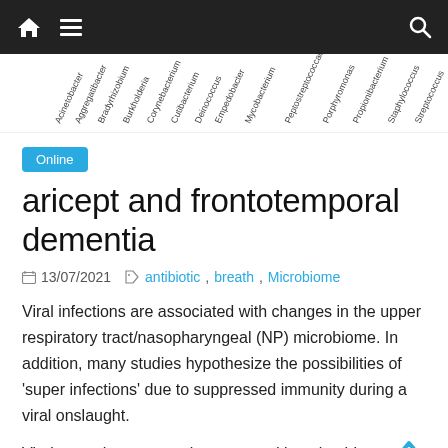Navigation bar with home, menu, and search icons
[Figure (other): Partial chart strip showing rotated bacterial genus labels along x-axis including Acinetobacter, Aggregatibacter, Bradyrhizobium, Burkholderia, Corynebacterium, Cutibacterium, Deinococcus, Empedobacter, Mycobacterium, Peptostreptococcaceae, Porphyromonas, Propionibacterium, Staphylococcus, Streptococcus]
Online
aricept and frontotemporal dementia
13/07/2021   antibiotic, breath, Microbiome
Viral infections are associated with changes in the upper respiratory tract/nasopharyngeal (NP) microbiome. In addition, many studies hypothesize the possibilities of 'super infections' due to suppressed immunity during a viral onslaught.
Virulent pathogens can be promoted by microbiota.